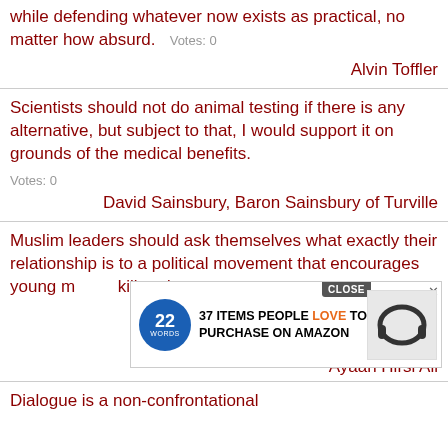while defending whatever now exists as practical, no matter how absurd.   Votes: 0
Alvin Toffler
Scientists should not do animal testing if there is any alternative, but subject to that, I would support it on grounds of the medical benefits.
Votes: 0
David Sainsbury, Baron Sainsbury of Turville
Muslim leaders should ask themselves what exactly their relationship is to a political movement that encourages young men to kill and m...
Ayaan Hirsi Ali
Dialogue is a non-confrontational
[Figure (other): Advertisement overlay: 22 Words logo, text '37 ITEMS PEOPLE LOVE TO PURCHASE ON AMAZON', headphones image, CLOSE button]